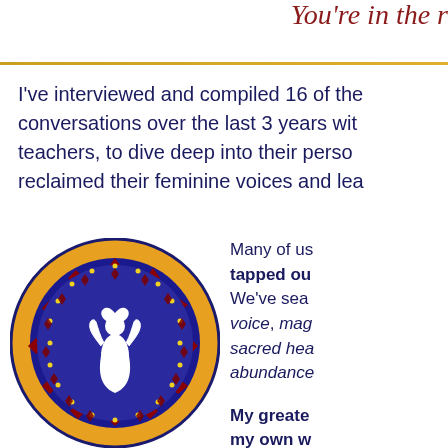You're in the r
I've interviewed and compiled 16 of the conversations over the last 3 years with teachers, to dive deep into their person reclaimed their feminine voices and lea
[Figure (logo): Circular mandala logo with a feminine figure (goddess) in white silhouette on a blue background, raising arms with a heart above her head. The circle has decorative rings with red diamond patterns, orange/gold scroll patterns, and yellow dots on blue border.]
Many of us have tapped ou We've sea voice, mag sacred hea abundance My greate my own w